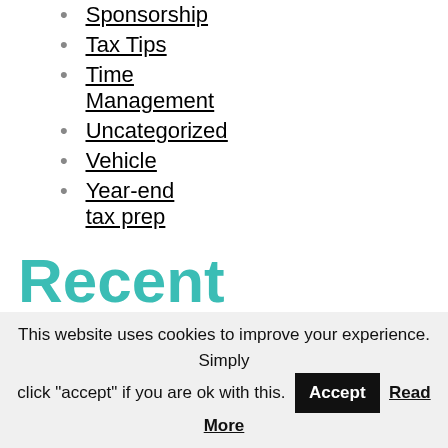Sponsorship
Tax Tips
Time Management
Uncategorized
Vehicle
Year-end tax prep
Recent Topics
617 Words About Those
This website uses cookies to improve your experience. Simply click "accept" if you are ok with this.